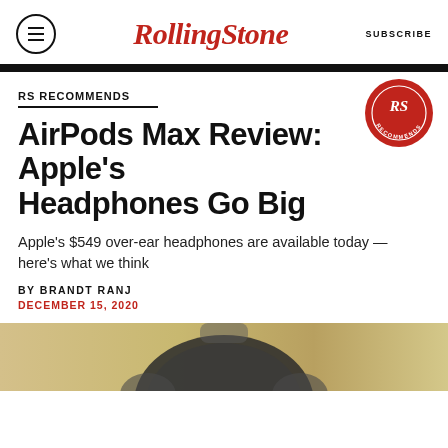Rolling Stone  SUBSCRIBE
RS RECOMMENDS
[Figure (logo): Rolling Stone RS Recommends red wax seal badge]
AirPods Max Review: Apple's Headphones Go Big
Apple's $549 over-ear headphones are available today — here's what we think
BY BRANDT RANJ
DECEMBER 15, 2020
[Figure (photo): Bottom portion of AirPods Max headphones on a gold/tan background, partially cropped]